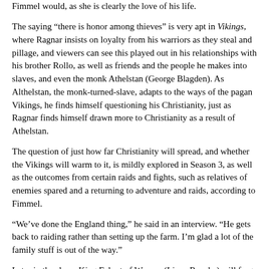Fimmel would, as she is clearly the love of his life.
The saying “there is honor among thieves” is very apt in Vikings, where Ragnar insists on loyalty from his warriors as they steal and pillage, and viewers can see this played out in his relationships with his brother Rollo, as well as friends and the people he makes into slaves, and even the monk Athelstan (George Blagden). As Althelstan, the monk-turned-slave, adapts to the ways of the pagan Vikings, he finds himself questioning his Christianity, just as Ragnar finds himself drawn more to Christianity as a result of Athelstan.
The question of just how far Christianity will spread, and whether the Vikings will warm to it, is mildly explored in Season 3, as well as the outcomes from certain raids and fights, such as relatives of enemies spared and a returning to adventure and raids, according to Fimmel.
“We’ve done the England thing,” he said in an interview. “He gets back to raiding rather than setting up the farm. I’m glad a lot of the family stuff is out of the way.”
Later in the show, King Ecbert of Wessex (Linus Roache) will forge a romance between himself and Lagertha, although one wonders if at least part of his attraction to the shield maiden and Earl is for political